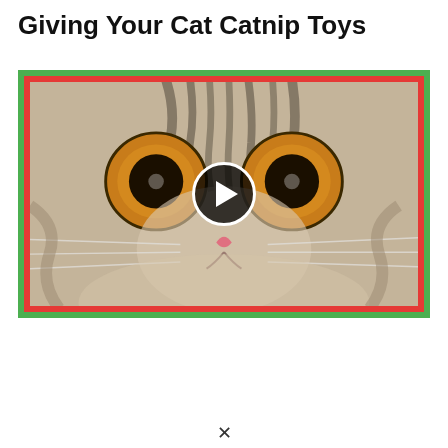Giving Your Cat Catnip Toys
[Figure (photo): Close-up photo of a wide-eyed tabby cat face with amber/orange eyes, overlaid with a play button circle indicating a video thumbnail. The image has a green outer border and a red inner border.]